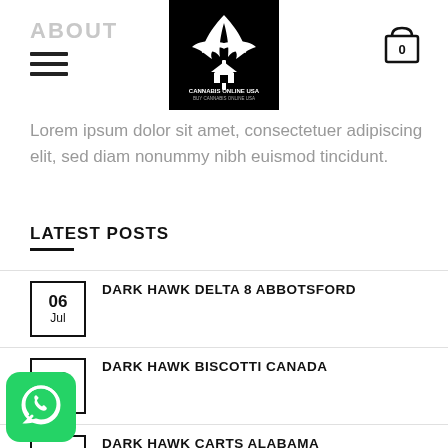ABOUT
[Figure (logo): Cannabis Online USA logo — white cannabis leaf and house icon on black background with text 'CANNABIS ONLINE USA BUY CANNABIS ONLINE USA']
[Figure (other): Shopping cart icon with badge showing 0]
Lorem ipsum dolor sit amet, consectetuer adipiscing elit, sed diam nonummy nibh euismod tincidunt.
LATEST POSTS
06 Jul — DARK HAWK DELTA 8 ABBOTSFORD
06 Jul — DARK HAWK BISCOTTI CANADA
02 Jul — DARK HAWK CARTS ALABAMA — 1 Comment
DELTA 8 GUMMIES WYOMING
02 — HIGH CHEW EDIBLES WISCONSIN
[Figure (other): WhatsApp green icon in bottom left corner]